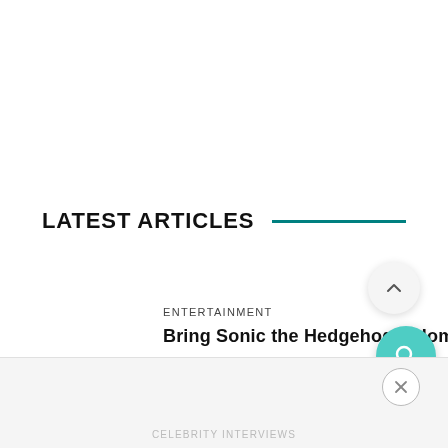LATEST ARTICLES
ENTERTAINMENT
Bring Sonic the Hedgehog 2 Hom…
[Figure (other): Scroll-to-top chevron button (light grey circle with upward caret)]
[Figure (other): Search button (teal circle with magnifying glass icon)]
[Figure (other): Close/dismiss button (white circle with X, outlined)]
CELEBRITY INTERVIEWS